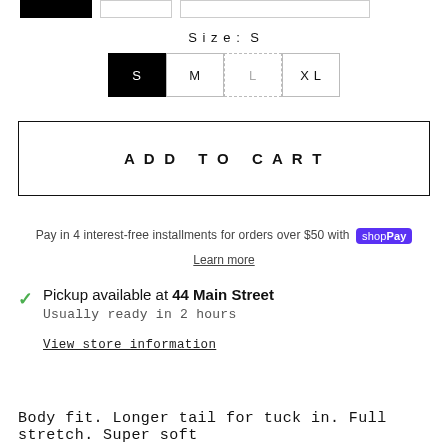[Figure (other): Color swatch selector strip with one black filled swatch and two empty/outlined swatches]
Size: S
S (selected, black) | M | L (unavailable, dashed) | XL
ADD TO CART
Pay in 4 interest-free installments for orders over $50 with Shop Pay
Learn more
Pickup available at 44 Main Street
Usually ready in 2 hours
View store information
Body fit. Longer tail for tuck in. Full stretch. Super soft